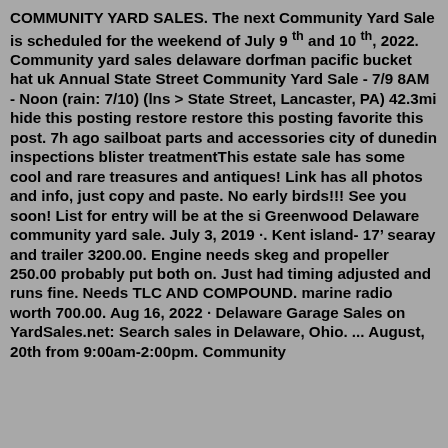COMMUNITY YARD SALES. The next Community Yard Sale is scheduled for the weekend of July 9 th and 10 th, 2022. Community yard sales delaware dorfman pacific bucket hat uk Annual State Street Community Yard Sale - 7/9 8AM - Noon (rain: 7/10) (lns > State Street, Lancaster, PA) 42.3mi hide this posting restore restore this posting favorite this post. 7h ago sailboat parts and accessories city of dunedin inspections blister treatmentThis estate sale has some cool and rare treasures and antiques! Link has all photos and info, just copy and paste. No early birds!!! See you soon! List for entry will be at the si Greenwood Delaware community yard sale. July 3, 2019 ·. Kent island- 17' searay and trailer 3200.00. Engine needs skeg and propeller 250.00 probably put both on. Just had timing adjusted and runs fine. Needs TLC AND COMPOUND. marine radio worth 700.00. Aug 16, 2022 · Delaware Garage Sales on YardSales.net: Search sales in Delaware, Ohio. ... August, 20th from 9:00am-2:00pm. Community